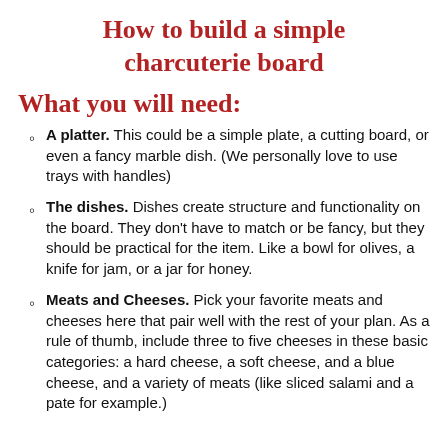How to build a simple charcuterie board
What you will need:
A platter. This could be a simple plate, a cutting board, or even a fancy marble dish. (We personally love to use trays with handles)
The dishes. Dishes create structure and functionality on the board. They don't have to match or be fancy, but they should be practical for the item. Like a bowl for olives, a knife for jam, or a jar for honey.
Meats and Cheeses. Pick your favorite meats and cheeses here that pair well with the rest of your plan. As a rule of thumb, include three to five cheeses in these basic categories: a hard cheese, a soft cheese, and a blue cheese, and a variety of meats (like sliced salami and a pate for example.)